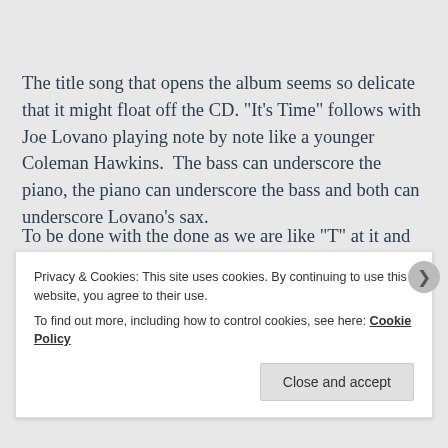The title song that opens the album seems so delicate that it might float off the CD. “It’s Time” follows with Joe Lovano playing note by note like a younger Coleman Hawkins. The bass can underscore the piano, the piano can underscore the bass and both can underscore Lovano’s sax.
To find out more, including how to control cookies, see here:
Privacy & Cookies: This site uses cookies. By continuing to use this website, you agree to their use.
To find out more, including how to control cookies, see here: Cookie Policy